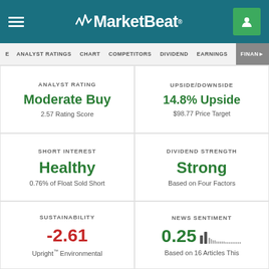MarketBeat
ANALYST RATINGS | CHART | COMPETITORS | DIVIDEND | EARNINGS | FINAN...
ANALYST RATING
Moderate Buy
2.57 Rating Score
UPSIDE/DOWNSIDE
14.8% Upside
$98.77 Price Target
SHORT INTEREST
Healthy
0.76% of Float Sold Short
DIVIDEND STRENGTH
Strong
Based on Four Factors
SUSTAINABILITY
-2.61
Upright™ Environmental
NEWS SENTIMENT
0.25
Based on 16 Articles This